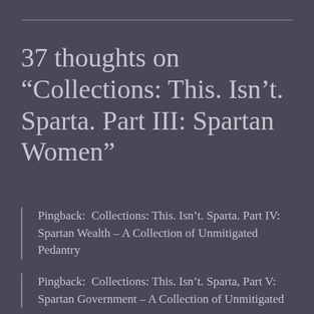37 thoughts on “Collections: This. Isn’t. Sparta. Part III: Spartan Women”
Pingback:  Collections: This. Isn’t. Sparta. Part IV: Spartan Wealth – A Collection of Unmitigated Pedantry
Pingback:  Collections: This. Isn’t. Sparta, Part V: Spartan Government – A Collection of Unmitigated